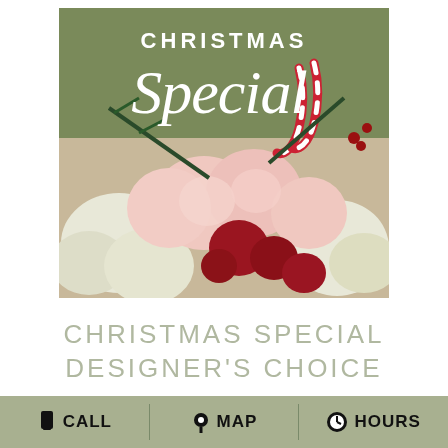[Figure (photo): Christmas flower arrangement with pink and white carnations, red roses, white spider mums, candy canes, and pine sprigs on an olive green background with text 'CHRISTMAS Special' overlaid.]
CHRISTMAS SPECIAL DESIGNER'S CHOICE
CALL   MAP   HOURS